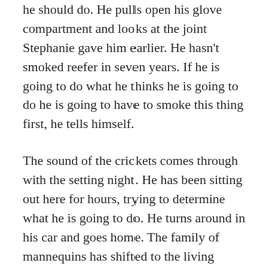he should do. He pulls open his glove compartment and looks at the joint Stephanie gave him earlier. He hasn't smoked reefer in seven years. If he is going to do what he thinks he is going to do he is going to have to smoke this thing first, he tells himself.
The sound of the crickets comes through with the setting night. He has been sitting out here for hours, trying to determine what he is going to do. He turns around in his car and goes home. The family of mannequins has shifted to the living room, blank faces all, sitting quiet on the couch when he walks in the door. His father asks him: “Where were you?”
“I went to Stephanie’s house,” he says. And then he goes upstairs without saying anything else. Upstairs he lets